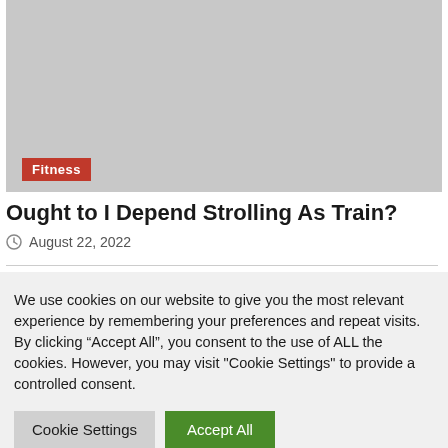[Figure (photo): Gray placeholder image area with a red Fitness category badge in the lower left]
Ought to I Depend Strolling As Train?
August 22, 2022
We use cookies on our website to give you the most relevant experience by remembering your preferences and repeat visits. By clicking “Accept All”, you consent to the use of ALL the cookies. However, you may visit "Cookie Settings" to provide a controlled consent.